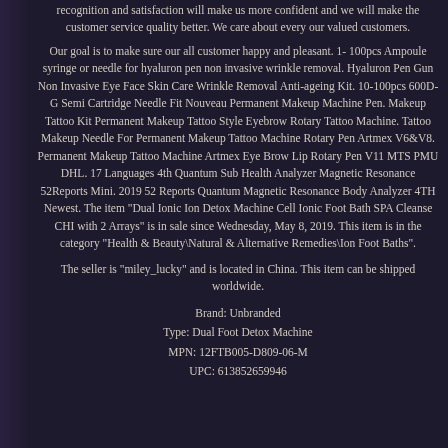recognition and satisfaction will make us more confident and we will make the customer service quality better. We care about every our valued customers.
Our goal is to make sure our all customer happy and pleasant. 1-100pcs Ampoule syringe or needle for hyaluron pen non invasive wrinkle removal. Hyaluron Pen Gun Non Invasive Eye Face Skin Care Wrinkle Removal Anti-ageing Kit. 10-100pcs 600D-G Semi Cartridge Needle Fit Nouveau Permanent Makeup Machine Pen. Makeup Tattoo Kit Permanent Makeup Tattoo Style Eyebrow Rotary Tattoo Machine. Tattoo Makeup Needle For Permanent Makeup Tattoo Machine Rotary Pen Artmex V6&V8. Permanent Makeup Tattoo Machine Artmex Eye Brow Lip Rotary Pen V11 MTS PMU DHL. 17 Languages 4th Quantum Sub Health Analyzer Magnetic Resonance 52Reports Mini. 2019 52 Reports Quantum Magnetic Resonance Body Analyzer 4TH Newest. The item "Dual Ionic Ion Detox Machine Cell Ionic Foot Bath SPA Cleanse CHI with 2 Arrays" is in sale since Wednesday, May 8, 2019. This item is in the category "Health & Beauty\Natural & Alternative Remedies\Ion Foot Baths".
The seller is "miley_lucky" and is located in China. This item can be shipped worldwide.
Brand: Unbranded
Type: Dual Foot Detox Machine
MPN: 12FTB005-D809-06-M
UPC: 613852659946